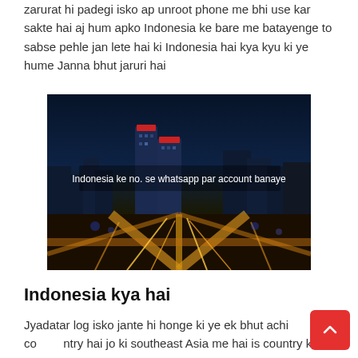zarurat hi padegi isko ap unroot phone me bhi use kar sakte hai aj hum apko Indonesia ke bare me batayenge to sabse pehle jan lete hai ki Indonesia hai kya kyu ki ye hume Janna bhut jaruri hai
[Figure (photo): Night aerial view of a city with illuminated skyscrapers and light trails on roads, with overlay text: Indonesia ke no. se whatsapp par account banaye]
Indonesia kya hai
Jyadatar log isko jante hi honge ki ye ek bhut achi country hai jo ki southeast Asia me hai is country ki capital hai